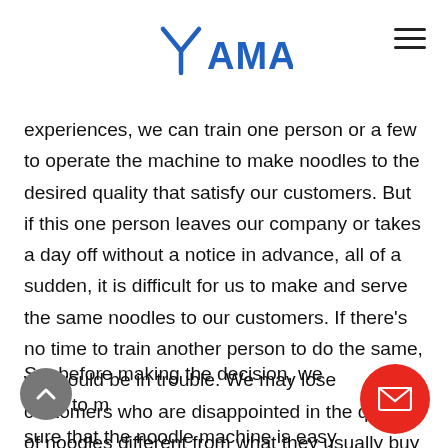YAMATO
experiences, we can train one person or a few to operate the machine to make noodles to the desired quality that satisfy our customers. But if this one person leaves our company or takes a day off without a notice in advance, all of a sudden, it is difficult for us to make and serve the same noodles to our customers. If there's no time to train another person to do the same, we would be in trouble. We may lose customers who are disappointed in the quality of noodles different from what they usually buy from us.
So, before making the decision, we need to make sure that the noodle machine is easy enough for anyone in our company to use so that anyone can